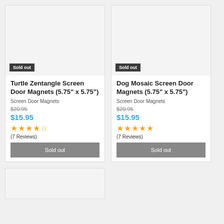[Figure (screenshot): Product image placeholder for Turtle Zentangle Screen Door Magnets, light gray background]
Sold out
Turtle Zentangle Screen Door Magnets (5.75" x 5.75")
Screen Door Magnets
$20.95
$15.95
★★★★☆
(7 Reviews)
Sold out
[Figure (screenshot): Product image placeholder for Dog Mosaic Screen Door Magnets, light gray background]
Sold out
Dog Mosaic Screen Door Magnets (5.75" x 5.75")
Screen Door Magnets
$20.95
$15.95
★★★★★
(7 Reviews)
Sold out
[Figure (screenshot): Partial product card at bottom, light gray image placeholder]